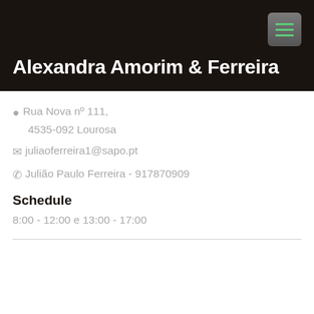Alexandra Amorim & Ferreira
Rua Nova nº 111, 4535-092 Lourosa
juliaoferreira1@sapo.pt
Julião Paulo Ferreira - 917870909
Schedule
8:00 - 12:00 e 13:00 - 17:00